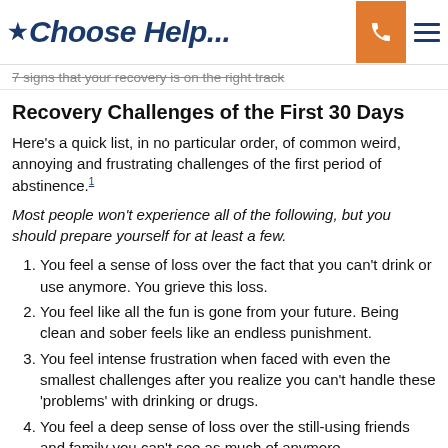*Choose Help...
7 signs that your recovery is on the right track
Recovery Challenges of the First 30 Days
Here's a quick list, in no particular order, of common weird, annoying and frustrating challenges of the first period of abstinence.[1]
Most people won't experience all of the following, but you should prepare yourself for at least a few.
You feel a sense of loss over the fact that you can't drink or use anymore. You grieve this loss.
You feel like all the fun is gone from your future. Being clean and sober feels like an endless punishment.
You feel intense frustration when faced with even the smallest challenges after you realize you can't handle these 'problems' with drinking or drugs.
You feel a deep sense of loss over the still-using friends and family you can't see as much of anymore.
Emotional pain from your past resurfaces as if out of nowhere